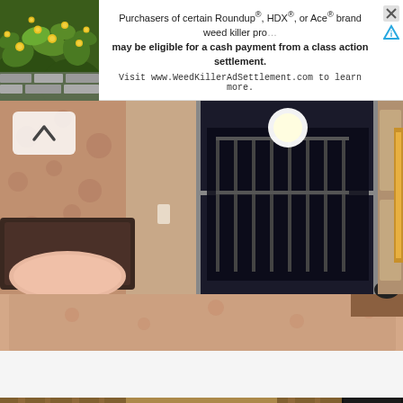[Figure (photo): Advertisement banner with photo of yellow flowering plants/shrubs on left and text about Roundup class action settlement on right]
[Figure (photo): Interior bedroom photo showing a bed with pink/beige linens, decorative rose-patterned wallpaper, and sliding glass door/window to balcony with night view]
Luxury penthouse belgrade vracar apartments rent
[Figure (photo): Interior luxury penthouse photo showing ornate illuminated ceiling with recessed spotlights, golden/copper tray ceiling, floor-to-ceiling curtains, and dark wood walls]